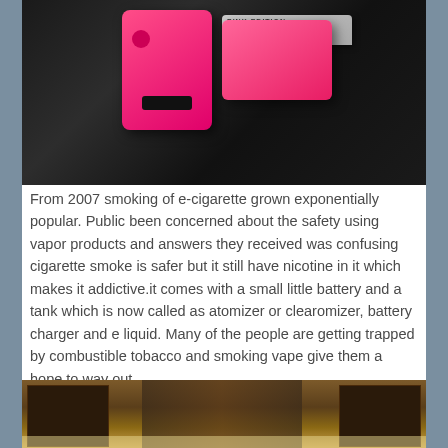[Figure (photo): Pink e-cigarette vape device and pink box on a dark background, partially cropped at top]
From 2007 smoking of e-cigarette grown exponentially popular. Public been concerned about the safety using vapor products and answers they received was confusing cigarette smoke is safer but it still have nicotine in it which makes it addictive.it comes with a small little battery and a tank which is now called as atomizer or clearomizer, battery charger and e liquid. Many of the people are getting trapped by combustible tobacco and smoking vape give them a hope to way out.
[Figure (photo): Interior of a vape/tobacco retail store showing shelves with products, partially cropped at bottom]